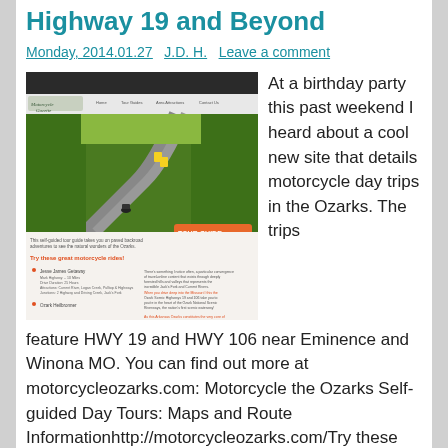Highway 19 and Beyond
Monday, 2014.01.27   J.D. H.   Leave a comment
[Figure (screenshot): Screenshot of motorcycleozarks.com website showing a motorcycle on a winding road through green trees, with navigation menu and page content about motorcycle day trips in the Ozarks.]
At a birthday party this past weekend I heard about a cool new site that details motorcycle day trips in the Ozarks. The trips feature HWY 19 and HWY 106 near Eminence and Winona MO. You can find out more at motorcycleozarks.com: Motorcycle the Ozarks Self-guided Day Tours: Maps and Route Informationhttp://motorcycleozarks.com/Try these great motorcycle rides! Jesse James